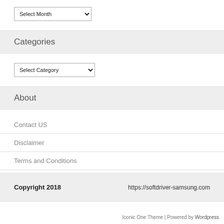Select Month
Categories
Select Category
About
Contact US
Disclaimer
Terms and Conditions
Privacy Policy
Copyright 2018    https://softdriver-samsung.com
Iconic One Theme | Powered by Wordpress